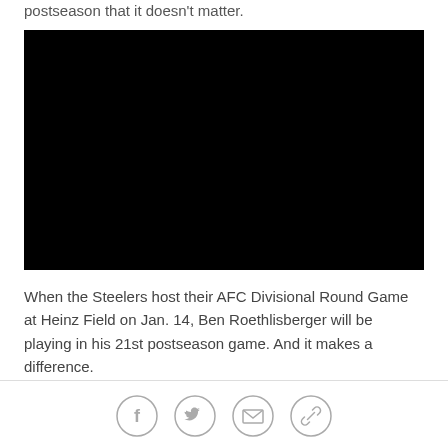postseason that it doesn't matter.
[Figure (photo): Black video/image embed placeholder]
When the Steelers host their AFC Divisional Round Game at Heinz Field on Jan. 14, Ben Roethlisberger will be playing in his 21st postseason game. And it makes a difference.
[Figure (infographic): Social sharing icons: Facebook, Twitter, Email, Link]